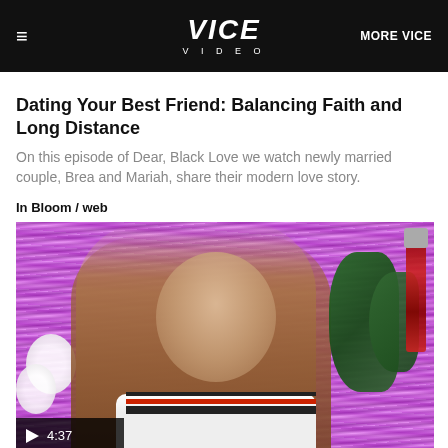VICE VIDEO | MORE VICE
Dating Your Best Friend: Balancing Faith and Long Distance
On this episode of Dear, Black Love we watch newly married couple, Brea and Mariah, share their modern love story.
In Bloom / web
[Figure (screenshot): Video thumbnail showing a laughing young woman with long brown hair against a pink/purple tinsel curtain background with green foliage and a lava lamp on the right side. A play button overlay in the bottom left shows the duration 4:37.]